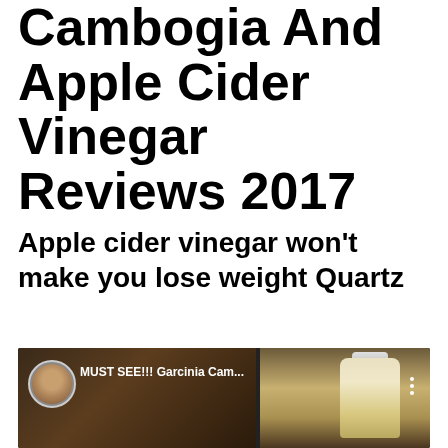Cambogia And Apple Cider Vinegar Reviews 2017
Apple cider vinegar won't make you lose weight Quartz
[Figure (screenshot): YouTube video thumbnail showing a woman avatar, title text 'MUST SEE!!! Garcinia Cam...' with three-dot menu, and a supplement bottle on dark background]